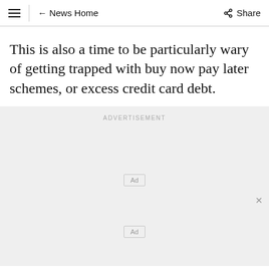≡  ← News Home    Share
This is also a time to be particularly wary of getting trapped with buy now pay later schemes, or excess credit card debt.
[Figure (other): Advertisement section with two 'Ad' placeholder boxes and a close (×) button on a light grey background, labelled ADVERTISEMENT at the top.]